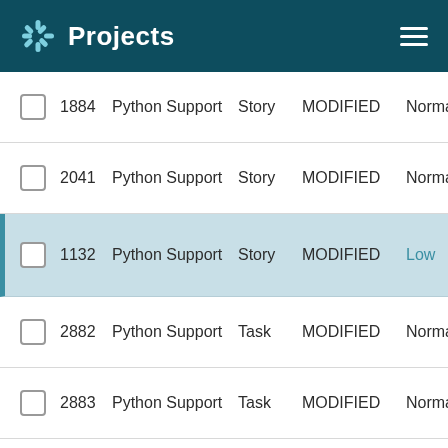Projects
1884  Python Support  Story  MODIFIED  Normal
2041  Python Support  Story  MODIFIED  Normal
1132  Python Support  Story  MODIFIED  Low
2882  Python Support  Task  MODIFIED  Normal
2883  Python Support  Task  MODIFIED  Normal